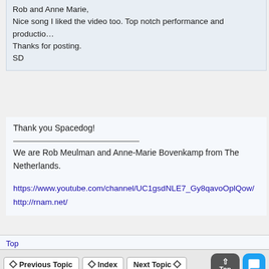Rob and Anne Marie,
Nice song I liked the video too. Top notch performance and production.
Thanks for posting.
SD
Thank you Spacedog!
We are Rob Meulman and Anne-Marie Bovenkamp from The Netherlands.
https://www.youtube.com/channel/UC1gsdNLE7_Gy8qavoOplQow/
http://rnam.net/
Top
Previous Topic | Index | Next Topic | Top